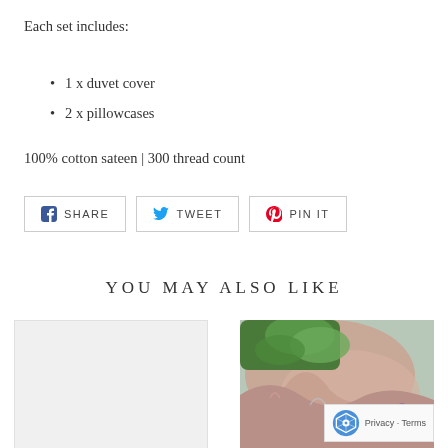Each set includes:
1 x duvet cover
2 x pillowcases
100% cotton sateen | 300 thread count
[Figure (screenshot): Social sharing buttons: SHARE (Facebook), TWEET (Twitter), PIN IT (Pinterest)]
YOU MAY ALSO LIKE
[Figure (photo): Empty light gray placeholder image on the left]
[Figure (photo): Photo of colorful floral quilted fabric draped over a wicker chair outdoors in a garden]